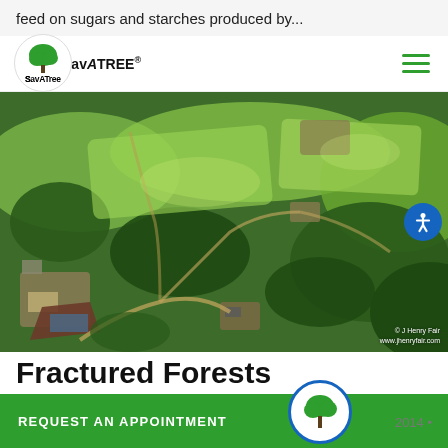feed on sugars and starches produced by...
SavATree
[Figure (photo): Aerial photograph of a fragmented forested landscape with green fields, patches of forest, and industrial well pads with dirt access roads. Photo credit: © J Henry Fair, www.jhenryfair.com]
© J Henry Fair
www.jhenryfair.com
Fractured Forests
REQUEST AN APPOINTMENT
2014 •
Leave a comment